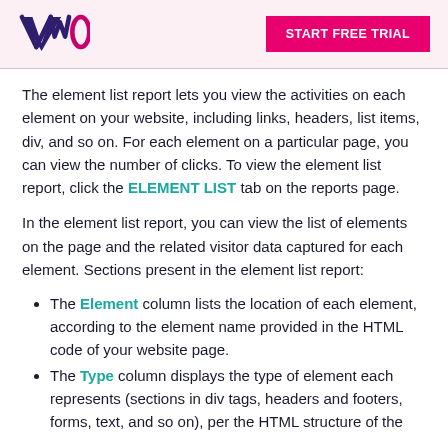VWO | START FREE TRIAL
The element list report lets you view the activities on each element on your website, including links, headers, list items, div, and so on. For each element on a particular page, you can view the number of clicks. To view the element list report, click the ELEMENT LIST tab on the reports page.
In the element list report, you can view the list of elements on the page and the related visitor data captured for each element. Sections present in the element list report:
The Element column lists the location of each element, according to the element name provided in the HTML code of your website page.
The Type column displays the type of element each represents (sections in div tags, headers and footers, forms, text, and so on), per the HTML structure of the